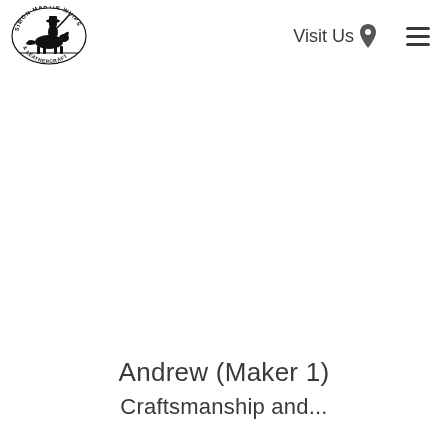Simon Martin Whips & Leathercraft — Visit Us — Navigation menu
Andrew (Maker 1)
Craftsmanship and...